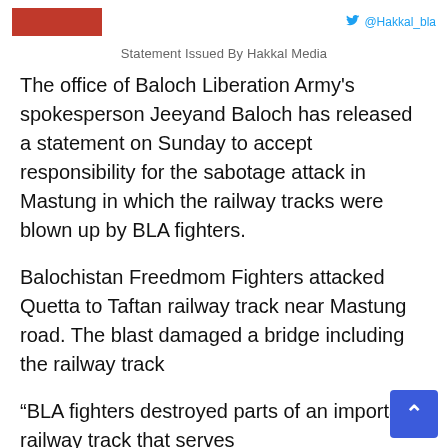Statement Issued By Hakkal Media
The office of Baloch Liberation Army's spokesperson Jeeyand Baloch has released a statement on Sunday to accept responsibility for the sabotage attack in Mastung in which the railway tracks were blown up by BLA fighters.
Balochistan Freedmom Fighters attacked Quetta to Taftan railway track near Mastung road. The blast damaged a bridge including the railway track
“BLA fighters destroyed parts of an important railway track that serves